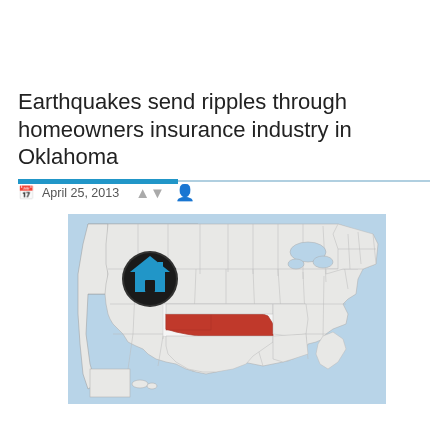Earthquakes send ripples through homeowners insurance industry in Oklahoma
April 25, 2013
[Figure (map): Map of the United States with Oklahoma highlighted in red, and a home insurance icon (house in a dark circle with blue fill) overlaid on the western states region.]